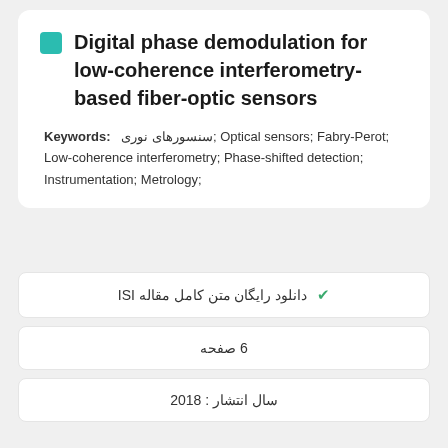Digital phase demodulation for low-coherence interferometry-based fiber-optic sensors
Keywords: سنسورهای نوری; Optical sensors; Fabry-Perot; Low-coherence interferometry; Phase-shifted detection; Instrumentation; Metrology;
✔ دانلود رایگان متن کامل مقاله ISI
6 صفحه
سال انتشار : 2018